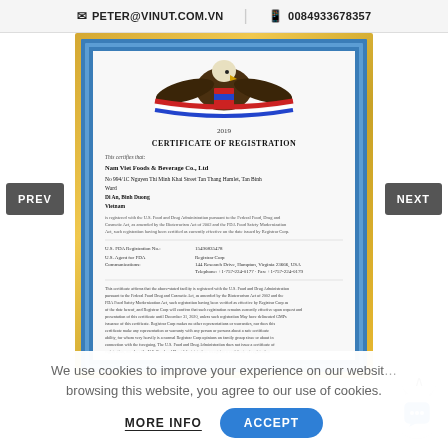PETER@VINUT.COM.VN  |  0084933678357
[Figure (photo): Framed US FDA Certificate of Registration (2019) for Nam Viet Foods & Beverage Co., Ltd, displayed in a gold and blue decorative frame with an eagle emblem at the top. PREV and NEXT navigation buttons on either side.]
We use cookies to improve your experience on our website. By browsing this website, you agree to our use of cookies.
MORE INFO   ACCEPT